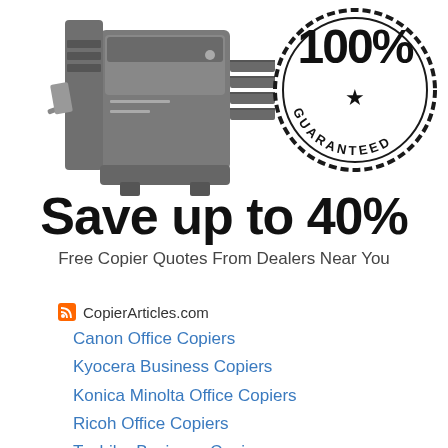[Figure (illustration): Office copier/printer machine (dark grey) on left, and a circular '100% GUARANTEED' stamp logo on right]
Save up to 40%
Free Copier Quotes From Dealers Near You
CopierArticles.com
Canon Office Copiers
Kyocera Business Copiers
Konica Minolta Office Copiers
Ricoh Office Copiers
Toshiba Business Copiers
Xerox Office Copiers
Gestetner Office Copiers